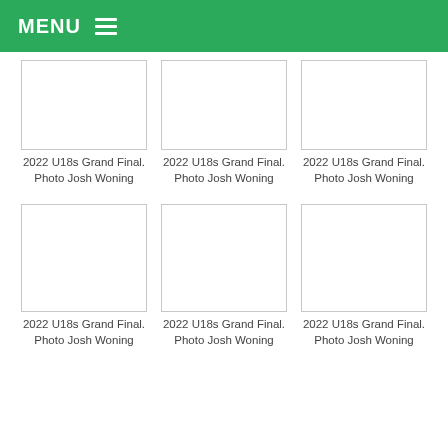MENU
[Figure (photo): Empty white photo placeholder box 1, row 1]
2022 U18s Grand Final. Photo Josh Woning
[Figure (photo): Empty white photo placeholder box 2, row 1]
2022 U18s Grand Final. Photo Josh Woning
[Figure (photo): Empty white photo placeholder box 3, row 1]
2022 U18s Grand Final. Photo Josh Woning
[Figure (photo): Empty white photo placeholder box 1, row 2]
2022 U18s Grand Final. Photo Josh Woning
[Figure (photo): Empty white photo placeholder box 2, row 2]
2022 U18s Grand Final. Photo Josh Woning
[Figure (photo): Empty white photo placeholder box 3, row 2]
2022 U18s Grand Final. Photo Josh Woning